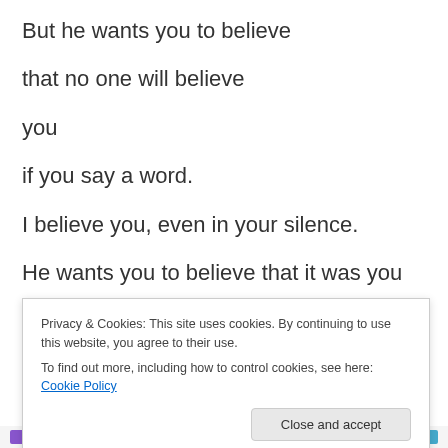But he wants you to believe
that no one will believe
you
if you say a word.
I believe you, even in your silence.
He wants you to believe that it was you
who invited his hands, his mouth, his . . .
Privacy & Cookies: This site uses cookies. By continuing to use this website, you agree to their use.
To find out more, including how to control cookies, see here: Cookie Policy
Close and accept